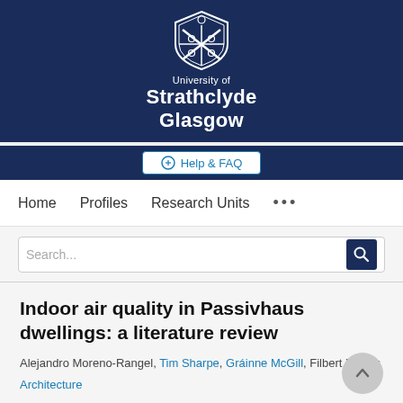[Figure (logo): University of Strathclyde Glasgow logo with shield emblem and white text on navy background]
Help & FAQ
Home   Profiles   Research Units   ...
Indoor air quality in Passivhaus dwellings: a literature review
Alejandro Moreno-Rangel, Tim Sharpe, Gráinne McGill, Filbert Musau
Architecture